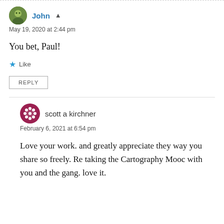John ▲
May 19, 2020 at 2:44 pm
You bet, Paul!
★ Like
REPLY
scott a kirchner
February 6, 2021 at 6:54 pm
Love your work. and greatly appreciate they way you share so freely. Re taking the Cartography Mooc with you and the gang. love it.